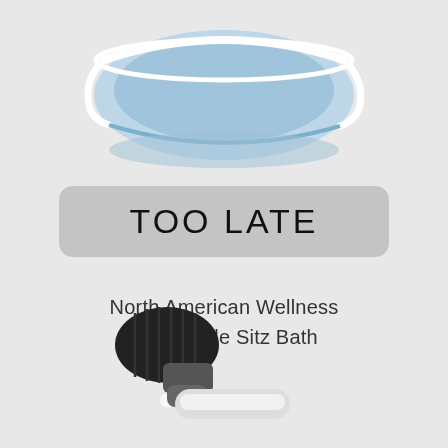[Figure (photo): Partial view of a blue collapsible sitz bath with white frame, cropped at top of page]
TOO LATE
North American Wellness Collapsible Sitz Bath
[Figure (photo): Partial view of a derma roller with black roller head and white handle, cropped at bottom-left of page]